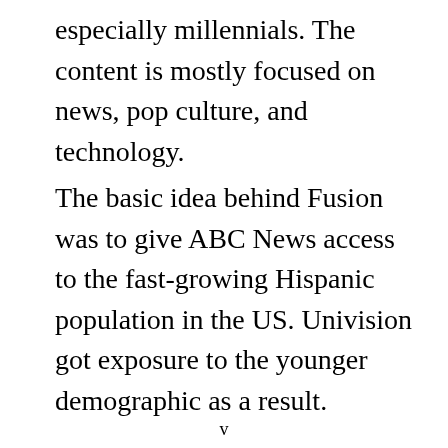especially millennials. The content is mostly focused on news, pop culture, and technology.
The basic idea behind Fusion was to give ABC News access to the fast-growing Hispanic population in the US. Univision got exposure to the younger demographic as a result.
v